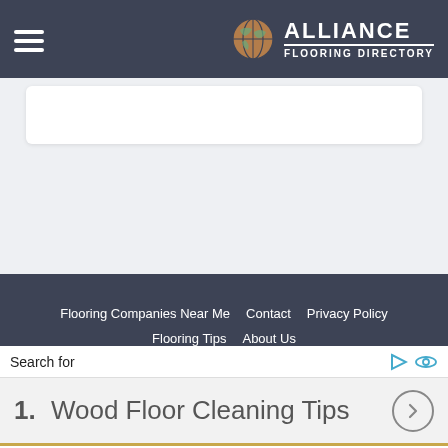ALLIANCE FLOORING DIRECTORY
[Figure (screenshot): White rounded card/search box area on light gray background]
Flooring Companies Near Me   Contact   Privacy Policy   Flooring Tips   About Us
Alliance Flooring Directory
Search for
1.  Wood Floor Cleaning Tips